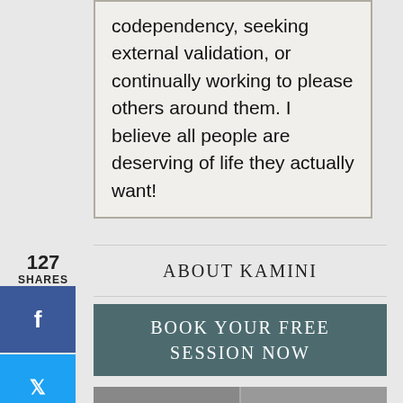codependency, seeking external validation, or continually working to please others around them. I believe all people are deserving of life they actually want!
127 SHARES
[Figure (infographic): Social media share buttons: Facebook (blue), Twitter (light blue), Pinterest (red), LinkedIn (blue)]
ABOUT KAMINI
BOOK YOUR FREE SESSION NOW
[Figure (photo): Two photos side by side at the bottom of the page]